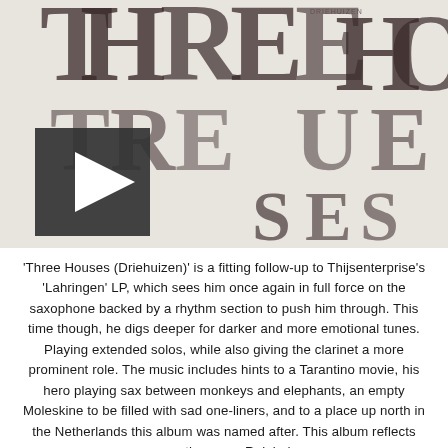[Figure (illustration): Album cover artwork for 'Three Houses (Driehuizen)' by Thijsenterprise, showing large typographic letters layered and overlapping in a distressed/stamp style on a light background. A dark play button overlay is visible in the lower-left area of the image.]
'Three Houses (Driehuizen)' is a fitting follow-up to Thijsenterprise's 'Lahringen' LP, which sees him once again in full force on the saxophone backed by a rhythm section to push him through. This time though, he digs deeper for darker and more emotional tunes. Playing extended solos, while also giving the clarinet a more prominent role. The music includes hints to a Tarantino movie, his hero playing sax between monkeys and elephants, an empty Moleskine to be filled with sad one-liners, and to a place up north in the Netherlands this album was named after. This album reflects more than ever Reinier's